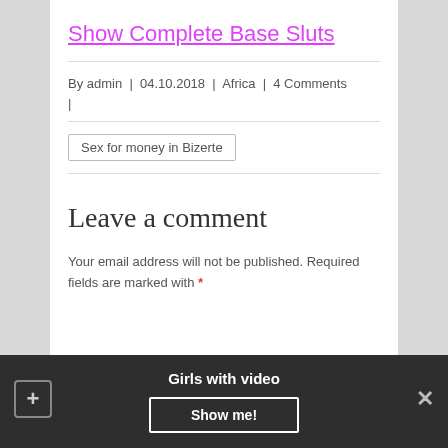Show Complete Base Sluts
By admin | 04.10.2018 | Africa | 4 Comments |
Sex for money in Bizerte
Leave a comment
Your email address will not be published. Required fields are marked with *
Girls with video
Show me!